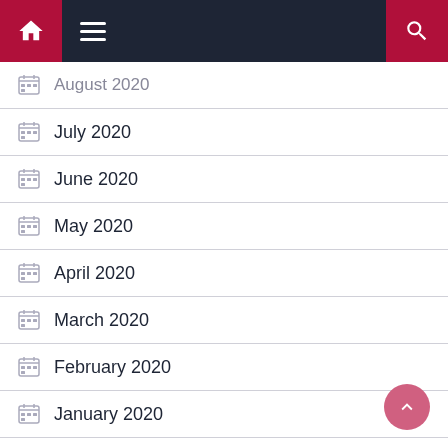Navigation bar with home, menu, and search
August 2020
July 2020
June 2020
May 2020
April 2020
March 2020
February 2020
January 2020
December 2019
October 2019